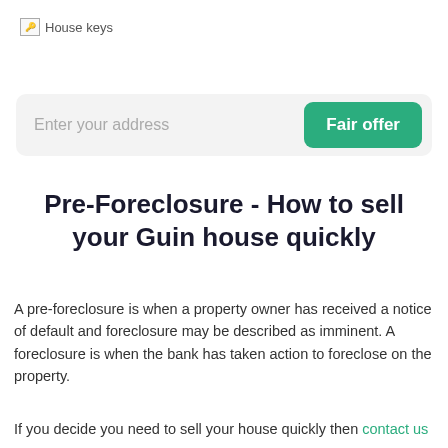[Figure (logo): House keys image placeholder with alt text 'House keys']
[Figure (screenshot): Search bar with placeholder text 'Enter your address' and a green 'Fair offer' button]
Pre-Foreclosure - How to sell your Guin house quickly
A pre-foreclosure is when a property owner has received a notice of default and foreclosure may be described as imminent. A foreclosure is when the bank has taken action to foreclose on the property.
If you decide you need to sell your house quickly then contact us